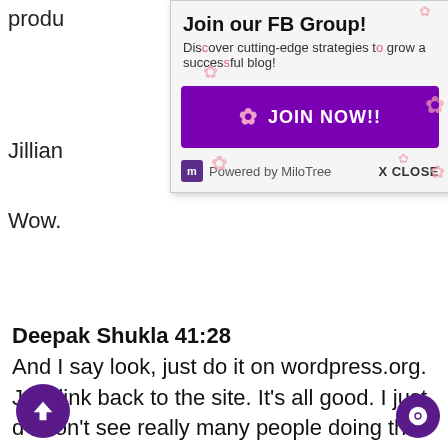produ
[Figure (screenshot): Facebook Group popup: 'Join our FB Group! Discover cutting-edge strategies to grow a successful blog!' with a purple JOIN NOW!! button and MiloTree branding, X CLOSE option]
Jillian
Wow.
Deepak Shukla 41:28
And I say look, just do it on wordpress.org. Just link back to the site. It’s all good. I just care about you or even say, “Write the blog post and I will sort out the technical and just whip up a wordpress.org site very quickly just so they can post it for secretsofasixfigureleadgenconsultant.wordpress.org.
d I don’t see really many people doing this like
really TEDx-ing how much goodwill that you get